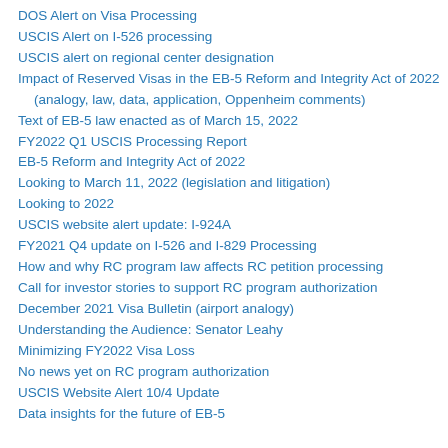DOS Alert on Visa Processing
USCIS Alert on I-526 processing
USCIS alert on regional center designation
Impact of Reserved Visas in the EB-5 Reform and Integrity Act of 2022 (analogy, law, data, application, Oppenheim comments)
Text of EB-5 law enacted as of March 15, 2022
FY2022 Q1 USCIS Processing Report
EB-5 Reform and Integrity Act of 2022
Looking to March 11, 2022 (legislation and litigation)
Looking to 2022
USCIS website alert update: I-924A
FY2021 Q4 update on I-526 and I-829 Processing
How and why RC program law affects RC petition processing
Call for investor stories to support RC program authorization
December 2021 Visa Bulletin (airport analogy)
Understanding the Audience: Senator Leahy
Minimizing FY2022 Visa Loss
No news yet on RC program authorization
USCIS Website Alert 10/4 Update
Data insights for the future of EB-5